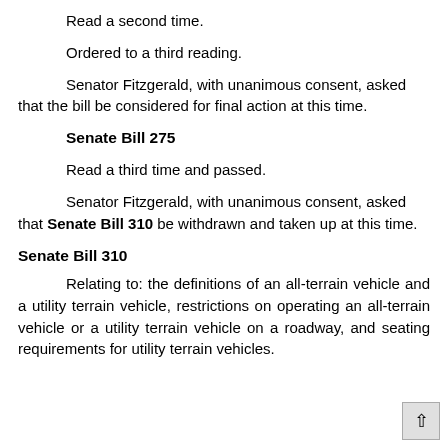Read a second time.
Ordered to a third reading.
Senator Fitzgerald, with unanimous consent, asked that the bill be considered for final action at this time.
Senate Bill 275
Read a third time and passed.
Senator Fitzgerald, with unanimous consent, asked that Senate Bill 310 be withdrawn and taken up at this time.
Senate Bill 310
Relating to: the definitions of an all-terrain vehicle and a utility terrain vehicle, restrictions on operating an all-terrain vehicle or a utility terrain vehicle on a roadway, and seating requirements for utility terrain vehicles.